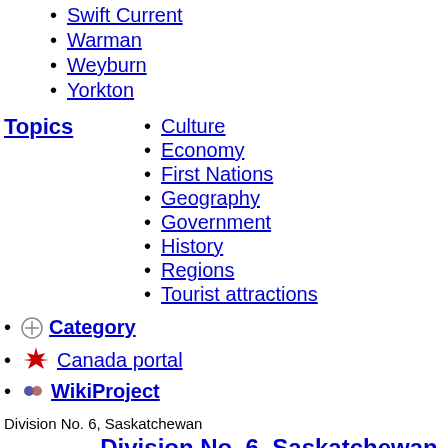Swift Current
Warman
Weyburn
Yorkton
Topics
Culture
Economy
First Nations
Geography
Government
History
Regions
Tourist attractions
Category
Canada portal
WikiProject
Division No. 6, Saskatchewan
Division No. 6, Saskatchewan
Cities
Regina
Balcarres
Balgonie